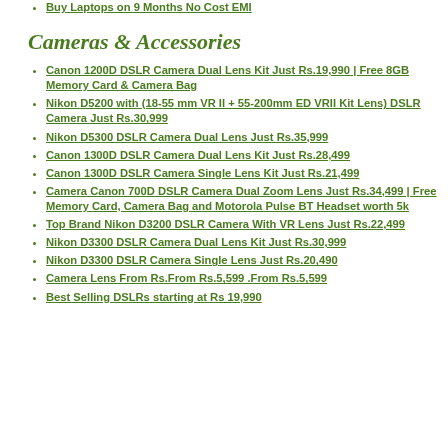Buy Laptops on 9 Months No Cost EMI
Cameras & Accessories
Canon 1200D DSLR Camera Dual Lens Kit Just Rs.19,990 | Free 8GB Memory Card & Camera Bag
Nikon D5200 with (18-55 mm VR II + 55-200mm ED VRII Kit Lens) DSLR Camera Just Rs.30,999
Nikon D5300 DSLR Camera Dual Lens Just Rs.35,999
Canon 1300D DSLR Camera Dual Lens Kit Just Rs.28,499
Canon 1300D DSLR Camera Single Lens Kit Just Rs.21,499
Camera Canon 700D DSLR Camera Dual Zoom Lens Just Rs.34,499 | Free Memory Card, Camera Bag and Motorola Pulse BT Headset worth 5k
Top Brand Nikon D3200 DSLR Camera With VR Lens Just Rs.22,499
Nikon D3300 DSLR Camera Dual Lens Kit Just Rs.30,999
Nikon D3300 DSLR Camera Single Lens Just Rs.20,490
Camera Lens From Rs.From Rs.5,599 .From Rs.5,599
Best Selling DSLRs starting at Rs 19,990